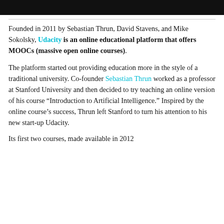[Figure (photo): Dark/black banner image at the top of the page, partially cropped]
Founded in 2011 by Sebastian Thrun, David Stavens, and Mike Sokolsky, Udacity is an online educational platform that offers MOOCs (massive open online courses).
The platform started out providing education more in the style of a traditional university. Co-founder Sebastian Thrun worked as a professor at Stanford University and then decided to try teaching an online version of his course “Introduction to Artificial Intelligence.” Inspired by the online course’s success, Thrun left Stanford to turn his attention to his new start-up Udacity.
Its first two courses, made available in 2012...